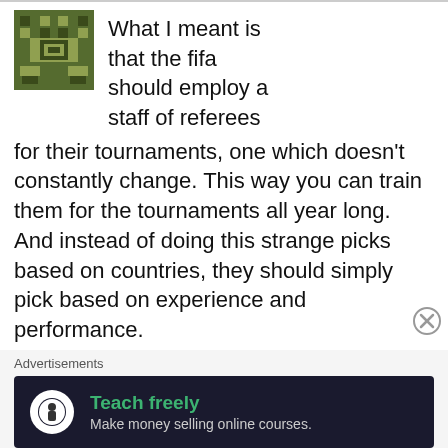[Figure (illustration): Pixel art avatar icon — green pixelated alien/robot face on olive green background]
What I meant is that the fifa should employ a staff of referees for their tournaments, one which doesn't constantly change. This way you can train them for the tournaments all year long. And instead of doing this strange picks based on countries, they should simply pick based on experience and performance.
[Figure (other): Circle X close button icon]
Advertisements
[Figure (screenshot): Advertisement banner: dark background with tree/person icon and text 'Teach freely — Make money selling online courses.']